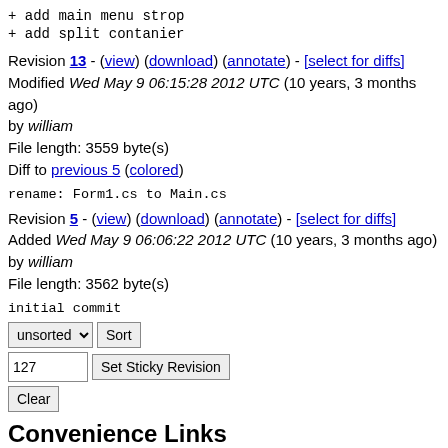+ add main menu strop
+ add split contanier
Revision 13 - (view) (download) (annotate) - [select for diffs]
Modified Wed May 9 06:15:28 2012 UTC (10 years, 3 months ago) by william
File length: 3559 byte(s)
Diff to previous 5 (colored)
rename: Form1.cs to Main.cs
Revision 5 - (view) (download) (annotate) - [select for diffs]
Added Wed May 9 06:06:22 2012 UTC (10 years, 3 months ago) by william
File length: 3562 byte(s)
initial commit
unsorted [dropdown] Sort | 127 Set Sticky Revision | Clear
Convenience Links